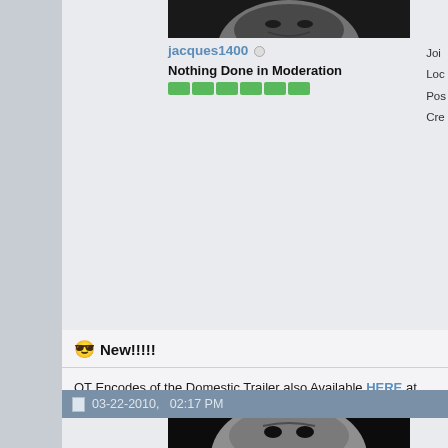[Figure (photo): User avatar photo showing a dark-haired female face, partial view at top]
jacques1400 ○
Nothing Done in Moderation
[Figure (infographic): Green reputation pip bar with approximately 11 green segments]
Joi
Loc
Pos
Cre
😎 New!!!!!
QT Encodes of the Domestic Trailer also Available HERE at Apple Direct Links. 🙂
□ 03-22-2010, 02:17 PM
[Figure (photo): User avatar photo showing a dark-haired pale female face, gothic style, black and white]
jacques1400 ○